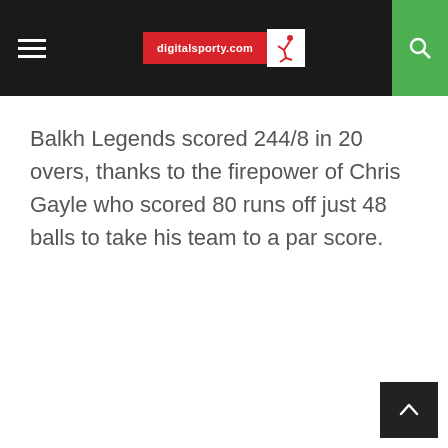digitalsporty.com
Balkh Legends scored 244/8 in 20 overs, thanks to the firepower of Chris Gayle who scored 80 runs off just 48 balls to take his team to a par score.